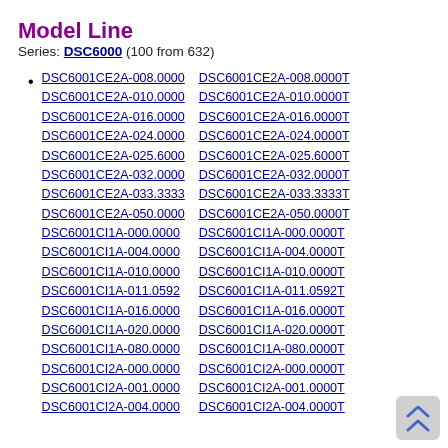Model Line
Series: DSC6000 (100 from 632)
DSC6001CE2A-008.0000  DSC6001CE2A-008.0000T
DSC6001CE2A-010.0000  DSC6001CE2A-010.0000T
DSC6001CE2A-016.0000  DSC6001CE2A-016.0000T
DSC6001CE2A-024.0000  DSC6001CE2A-024.0000T
DSC6001CE2A-025.6000  DSC6001CE2A-025.6000T
DSC6001CE2A-032.0000  DSC6001CE2A-032.0000T
DSC6001CE2A-033.3333  DSC6001CE2A-033.3333T
DSC6001CE2A-050.0000  DSC6001CE2A-050.0000T
DSC6001CI1A-000.0000  DSC6001CI1A-000.0000T
DSC6001CI1A-004.0000  DSC6001CI1A-004.0000T
DSC6001CI1A-010.0000  DSC6001CI1A-010.0000T
DSC6001CI1A-011.0592  DSC6001CI1A-011.0592T
DSC6001CI1A-016.0000  DSC6001CI1A-016.0000T
DSC6001CI1A-020.0000  DSC6001CI1A-020.0000T
DSC6001CI1A-080.0000  DSC6001CI1A-080.0000T
DSC6001CI2A-000.0000  DSC6001CI2A-000.0000T
DSC6001CI2A-001.0000  DSC6001CI2A-001.0000T
DSC6001CI2A-004.0000  DSC6001CI2A-004.0000T